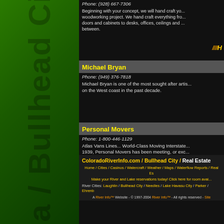Phone: (928) 667-7306
Beginning with your concept, we will hand craft your woodworking project. We hand craft everything from doors and cabinets to desks, offices, ceilings and between.
Michael Bryan
Phone: (949) 376-7818
Michael Bryan is one of the most sought after artists on the West coast in the past decade.
Personal Movers
Phone: 1-800-446-1129
Atlas Vans Lines... World-Class Moving Interstate Since 1939, Personal Movers has been meeting, or exceeding customers expectations!
ColoradoRiverInfo.com / Bullhead City / Real Estate
Home / Cities / Casinos / Watercraft / Weather / Maps / Waterflow Reports / Real Es...
Make your River and Lake reservations today! Click here for room avai...
River Cities: Laughlin / Bullhead City / Needles / Lake Havasu City / Parker / Ehrenb...
A River Info™ Website - © 1997-2004 River Info™ - All rights reserved - Site...